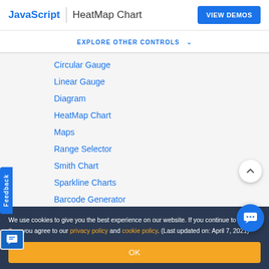JavaScript | HeatMap Chart  VIEW DEMOS
EXPLORE OTHER CONTROLS
Circular Gauge
Linear Gauge
Diagram
HeatMap Chart
Maps
Range Selector
Smith Chart
Sparkline Charts
Barcode Generator
TreeMap
We use cookies to give you the best experience on our website. If you continue to browse, then you agree to our privacy policy and cookie policy.  (Last updated on: April 7, 2021)
OK